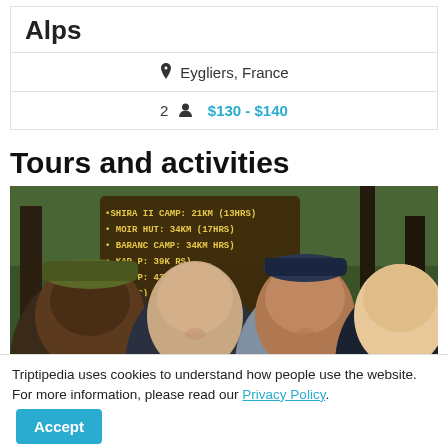Alps
Eygliers, France
2  $130 - $140
Tours and activities
[Figure (photo): Four young men posing together outdoors in front of a wooden trail distance sign showing: SHIRA II CAMP: 21KM (13HRS), MOIR HUT: 34KM (17HRS), BARANC CAMP: 34KM HRS, KAR P: 39K RS, BAF P: 43 PS, : 48 S). They appear to be at a hiking/trekking trailhead.]
Triptipedia uses cookies to understand how people use the website. For more information, please read our Privacy Policy.